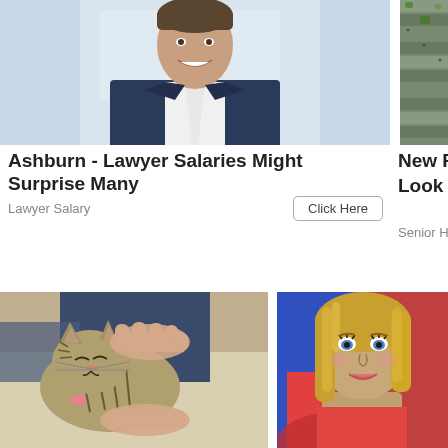[Figure (photo): Man in dark suit smiling, professional headshot, light background]
[Figure (photo): Aerial view of roof with grey tiles and green plants, partially visible]
Ashburn - Lawyer Salaries Might Surprise Many
Lawyer Salary
Click Here
New Retire... Look At Pr...
Senior Housing
[Figure (photo): Tabby cat being petted by human hands, close-up]
[Figure (photo): Young blonde woman smiling, colorful background, partially visible]